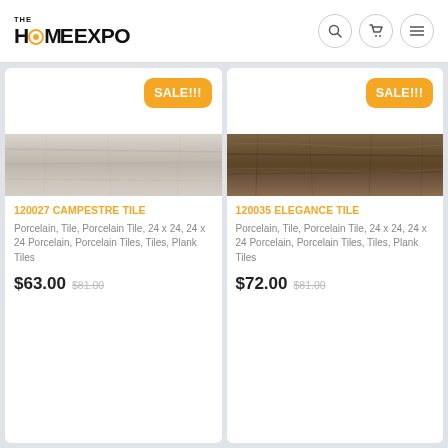THE HOME EXPO
[Figure (photo): Light grey wood-look porcelain tile plank, horizontal orientation]
120027 CAMPESTRE TILE
Porcelain, Tile, Porcelain Tile, 24 x 24, 24 x 24 Porcelain, Porcelain Tiles, Tiles, Plank Tiles
$63.00  $81.00
[Figure (photo): Dark brown wood-look porcelain tile plank, horizontal orientation]
120035 ELEGANCE TILE
Porcelain, Tile, Porcelain Tile, 24 x 24, 24 x 24 Porcelain, Porcelain Tiles, Tiles, Plank Tiles
$72.00  $81.00